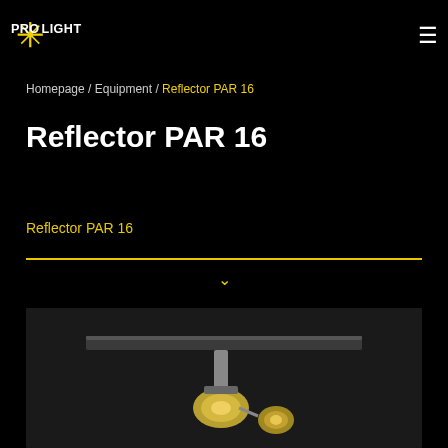PRO LIGHT
Homepage / Equipment / Reflector PAR 16
Reflector PAR 16
Reflector PAR 16
[Figure (photo): Photo of Reflector PAR 16 lighting fixture mounted on a truss bar, showing the lamp housing with clamp]